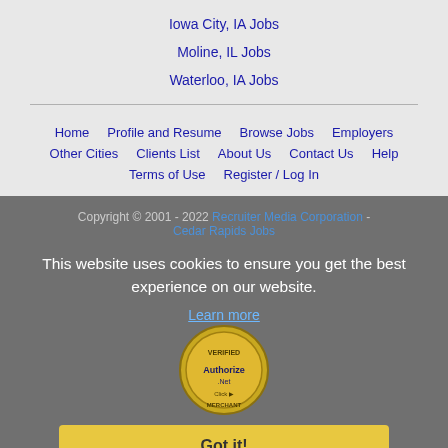Iowa City, IA Jobs
Moline, IL Jobs
Waterloo, IA Jobs
Home | Profile and Resume | Browse Jobs | Employers | Other Cities | Clients List | About Us | Contact Us | Help | Terms of Use | Register / Log In
Copyright © 2001 - 2022 Recruiter Media Corporation - Cedar Rapids Jobs
This website uses cookies to ensure you get the best experience on our website.
Learn more
[Figure (logo): Authorize.Net Verified Merchant Click badge]
Got it!